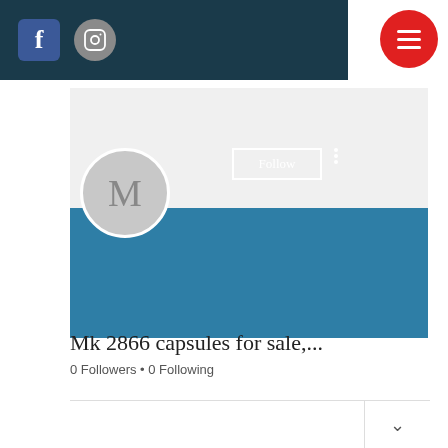[Figure (screenshot): Social media website screenshot showing a navigation bar with Facebook and Instagram icons, a red hamburger menu button, a profile page with gray cover banner, blue profile banner, a gray avatar circle with letter M, a Follow button, three vertical dots menu, profile name 'Mk 2866 capsules for sale,...', '0 Followers • 0 Following', and a bottom tab/content section with a dropdown chevron.]